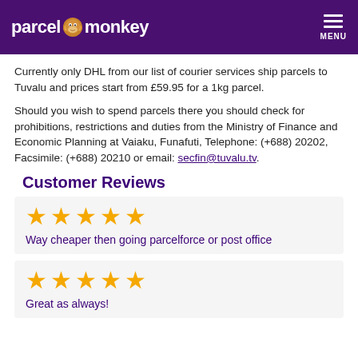parcelmonkey MENU
Currently only DHL from our list of courier services ship parcels to Tuvalu and prices start from £59.95 for a 1kg parcel.
Should you wish to spend parcels there you should check for prohibitions, restrictions and duties from the Ministry of Finance and Economic Planning at Vaiaku, Funafuti, Telephone: (+688) 20202, Facsimile: (+688) 20210 or email: secfin@tuvalu.tv.
Customer Reviews
★★★★★ Way cheaper then going parcelforce or post office
★★★★★ Great as always!